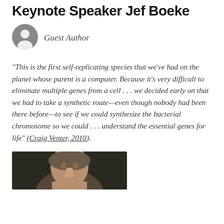Keynote Speaker Jef Boeke
Guest Author
“This is the first self-replicating species that we’ve had on the planet whose parent is a computer. Because it’s very difficult to eliminate multiple genes from a cell . . . we decided early on that we had to take a synthetic route—even though nobody had been there before—to see if we could synthesize the bacterial chromosome so we could . . . understand the essential genes for life” (Craig Venter, 2010).
[Figure (photo): Head and shoulders photo of a person, likely Jef Boeke, with grey hair against a dark background.]